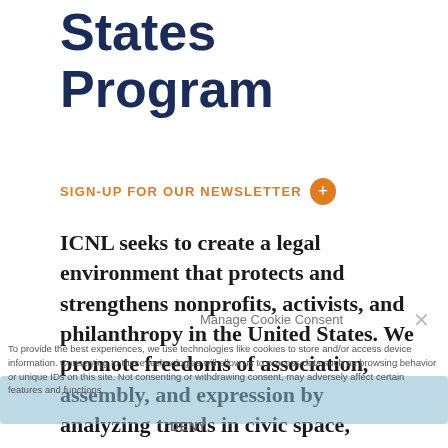States Program
SIGN-UP FOR OUR NEWSLETTER
ICNL seeks to create a legal environment that protects and strengthens nonprofits, activists, and philanthropy in the United States. We promote freedoms of association, assembly, and expression by analyzing trends in civic space, tracking state and federal laws affecting protest, and providing nonprofit organizations with information about legal compliance and risk management. The U.S. program also aims to reduce the negative impact on civil society of